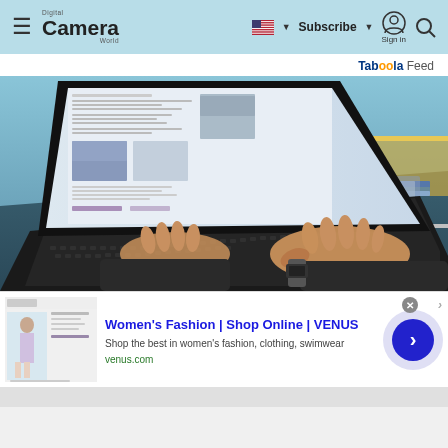Digital Camera World — Subscribe | Sign in
Taboola Feed
[Figure (photo): Person typing on a dual-screen laptop at a desk with a coffee mug and books in the background, in a blue-toned office setting]
[Figure (screenshot): Advertisement: Women's Fashion | Shop Online | VENUS — Shop the best in women's fashion, clothing, swimwear — venus.com]